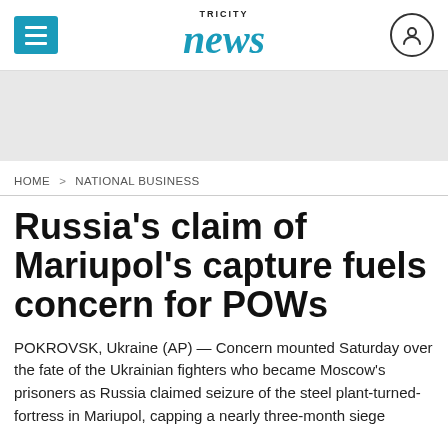TRI CITY news
[Figure (other): Advertisement banner placeholder (gray rectangle)]
HOME > NATIONAL BUSINESS
Russia's claim of Mariupol's capture fuels concern for POWs
POKROVSK, Ukraine (AP) — Concern mounted Saturday over the fate of the Ukrainian fighters who became Moscow's prisoners as Russia claimed seizure of the steel plant-turned-fortress in Mariupol, capping a nearly three-month siege